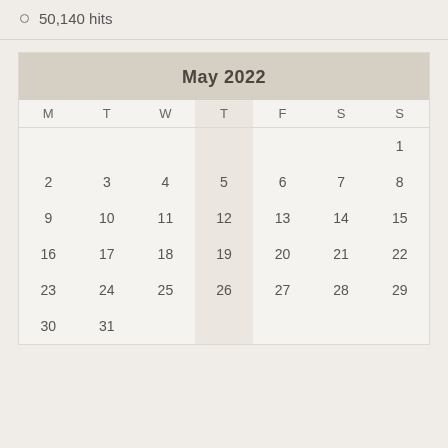50,140 hits
| M | T | W | T | F | S | S |
| --- | --- | --- | --- | --- | --- | --- |
|  |  |  |  |  |  | 1 |
| 2 | 3 | 4 | 5 | 6 | 7 | 8 |
| 9 | 10 | 11 | 12 | 13 | 14 | 15 |
| 16 | 17 | 18 | 19 | 20 | 21 | 22 |
| 23 | 24 | 25 | 26 | 27 | 28 | 29 |
| 30 | 31 |  |  |  |  |  |